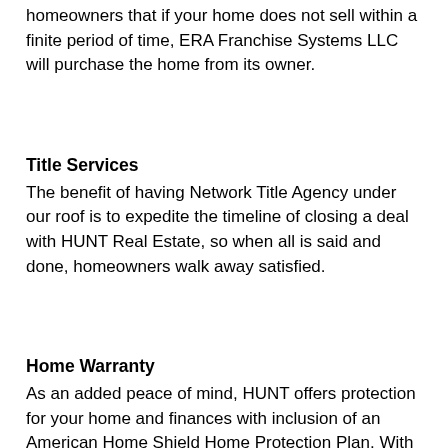homeowners that if your home does not sell within a finite period of time, ERA Franchise Systems LLC will purchase the home from its owner.
Title Services
The benefit of having Network Title Agency under our roof is to expedite the timeline of closing a deal with HUNT Real Estate, so when all is said and done, homeowners walk away satisfied.
Home Warranty
As an added peace of mind, HUNT offers protection for your home and finances with inclusion of an American Home Shield Home Protection Plan. With options to fit every home and budget, plan ahead for the everyday